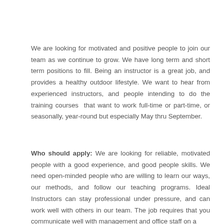We are looking for motivated and positive people to join our team as we continue to grow. We have long term and short term positions to fill. Being an instructor is a great job, and provides a healthy outdoor lifestyle. We want to hear from experienced instructors, and people intending to do the training courses that want to work full-time or part-time, or seasonally, year-round but especially May thru September.
Who should apply: We are looking for reliable, motivated people with a good experience, and good people skills. We need open-minded people who are willing to learn our ways, our methods, and follow our teaching programs. Ideal Instructors can stay professional under pressure, and can work well with others in our team. The job requires that you communicate well with management and office staff on a